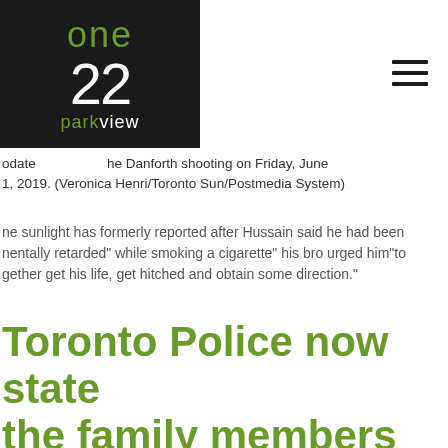[Figure (logo): One22 Parkview logo: dark background with green 'one', white '22', and white/green 'parkview' text]
odate the Danforth shooting on Friday, June 1, 2019. (Veronica Henri/Toronto Sun/Postmedia System)
ne sunlight has formerly reported after Hussain said he had been mentally retarded" while smoking a cigarette" his bro urged him"to gether get his life, get hitched and obtain some direction."
Toronto Police now state the family members believe this conversation